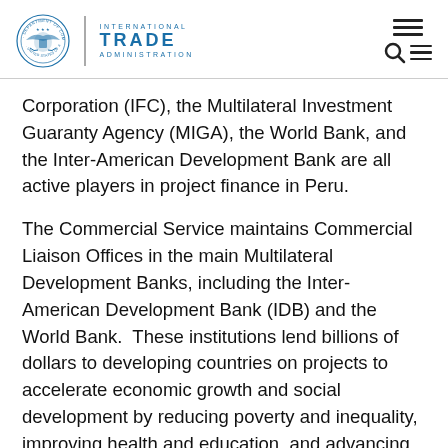International Trade Administration
Corporation (IFC), the Multilateral Investment Guaranty Agency (MIGA), the World Bank, and the Inter-American Development Bank are all active players in project finance in Peru.
The Commercial Service maintains Commercial Liaison Offices in the main Multilateral Development Banks, including the Inter-American Development Bank (IDB) and the World Bank. These institutions lend billions of dollars to developing countries on projects to accelerate economic growth and social development by reducing poverty and inequality, improving health and education, and advancing infrastructure